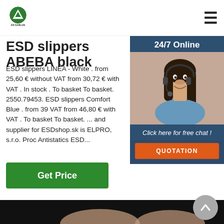[Figure (logo): Green circular logo with white triangle/mountain icon, text 'EN SANLUN' below]
ESD slippers ABEBA black
ESD slippers LINEA - White . from 25,60 € without VAT from 30,72 € with VAT . In stock . To basket To basket. 2550.79453. ESD slippers Comfort Blue . from 39... VAT from 46,80 € with VAT . To basket To basket. ... and supplier for ESDshop.sk is ELPRO, s.r.o. Proc... Antistatics ESD...
[Figure (screenshot): 24/7 Online customer support widget showing a woman with headset and buttons for free chat and quotation]
[Figure (photo): Product photo of ESD slippers (beige/tan color) on black background]